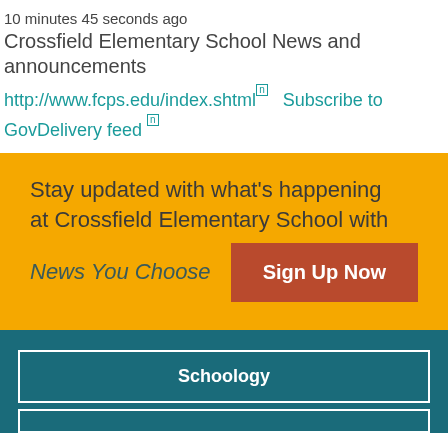10 minutes 45 seconds ago
Crossfield Elementary School News and announcements
http://www.fcps.edu/index.shtml  Subscribe to GovDelivery feed
Stay updated with what's happening at Crossfield Elementary School with News You Choose
Sign Up Now
Schoology